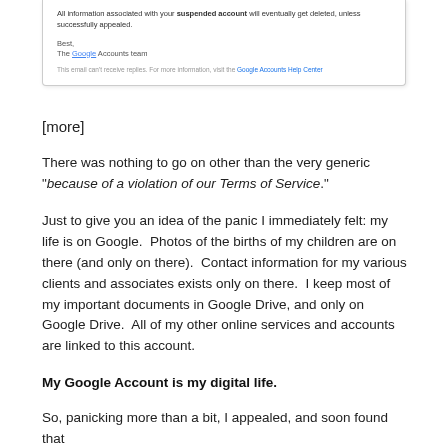[Figure (screenshot): Screenshot of a Google email showing account suspension notice with text 'All information associated with your suspended account will eventually get deleted, unless successfully appealed.' followed by 'Best, The Google Accounts team' and a footer note about the Google Accounts Help Center.]
[more]
There was nothing to go on other than the very generic "because of a violation of our Terms of Service."
Just to give you an idea of the panic I immediately felt: my life is on Google.  Photos of the births of my children are on there (and only on there).  Contact information for my various clients and associates exists only on there.  I keep most of my important documents in Google Drive, and only on Google Drive.  All of my other online services and accounts are linked to this account.
My Google Account is my digital life.
So, panicking more than a bit, I appealed, and soon found that